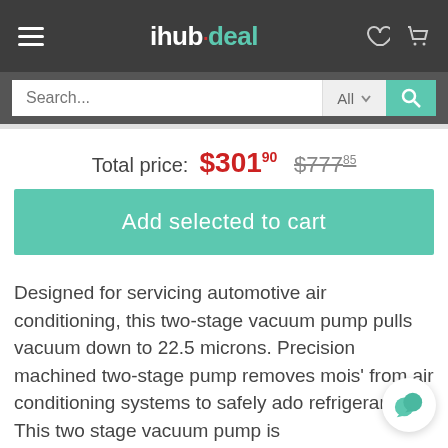ihu·bdeal — navigation header with hamburger menu, logo, heart and cart icons
Search... All
Total price: $301.90  $777.85
Add selected to cart
Designed for servicing automotive air conditioning, this two-stage vacuum pump pulls vacuum down to 22.5 microns. Precision machined two-stage pump removes mois' from air conditioning systems to safely ado refrigerant. This two stage vacuum pump is